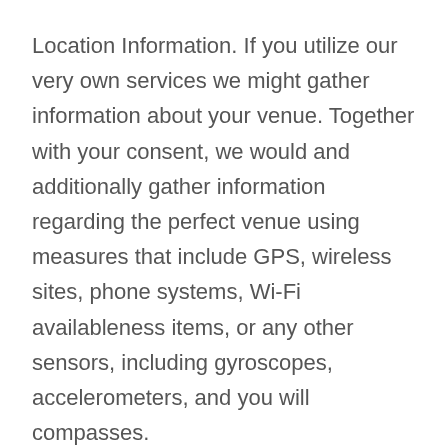Location Information. If you utilize our very own services we might gather information about your venue. Together with your consent, we would and additionally gather information regarding the perfect venue using measures that include GPS, wireless sites, phone systems, Wi-Fi availableness items, or any other sensors, including gyroscopes, accelerometers, and you will compasses.
Advice Amassed by Snacks and other Tech. Like most on the web functions and you may cellular programs, we would fool around with cookies or any other technology, such online beacons, websites stores, and novel advertisements identifiers, to gather details about their passion, web browser, and unit. We